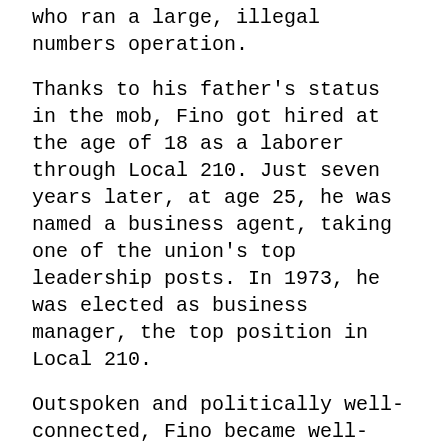who ran a large, illegal numbers operation.
Thanks to his father's status in the mob, Fino got hired at the age of 18 as a laborer through Local 210. Just seven years later, at age 25, he was named a business agent, taking one of the union's top leadership posts. In 1973, he was elected as business manager, the top position in Local 210.
Outspoken and politically well-connected, Fino became well-known to Western New Yorkers in the late 1970s and 1980s. During that time, Fino lived a dangerous double life known only to a handful of people.
Publicly, he defended Local 210, telling people that allegations that the union was dominated by the mob were outrageous and vicious lies.
But privately, for 17 years, he served as an FBI...